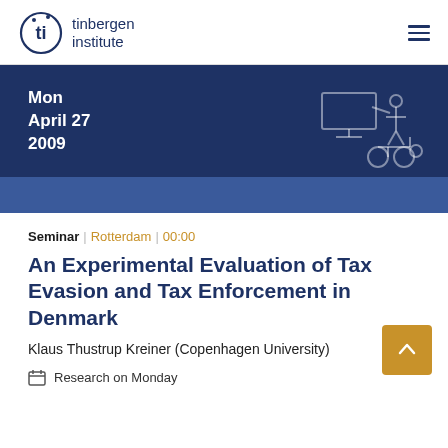tinbergen institute
[Figure (illustration): Dark blue banner with date Mon April 27 2009 and a wheelchair/presentation illustration icon in the lower right area. A lighter blue strip runs along the bottom of the banner.]
Seminar | Rotterdam | 00:00
An Experimental Evaluation of Tax Evasion and Tax Enforcement in Denmark
Klaus Thustrup Kreiner (Copenhagen University)
Research on Monday